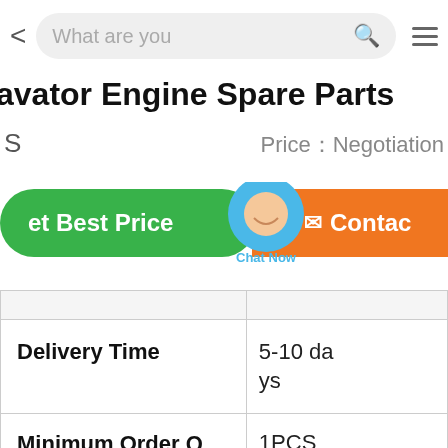[Figure (screenshot): Mobile browser top bar with back arrow, search box showing 'What are you', search icon, and hamburger menu]
…avator Engine Spare Parts
…S   Price：Negotiation
[Figure (screenshot): Green 'Get Best Price' button and orange 'Contact' button with chat bubble overlay saying 'Chat Now']
| Delivery Time | 5-10 days |
| Minimum Order Quantity | 1PCS |